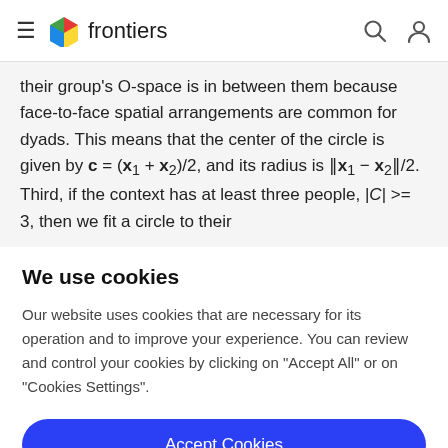frontiers
their group's O-space is in between them because face-to-face spatial arrangements are common for dyads. This means that the center of the circle is given by c = (x1 + x2)/2, and its radius is ‖x1 − x2‖/2. Third, if the context has at least three people, |C| >= 3, then we fit a circle to their
We use cookies
Our website uses cookies that are necessary for its operation and to improve your experience. You can review and control your cookies by clicking on "Accept All" or on "Cookies Settings".
Accept Cookies
Cookies Settings